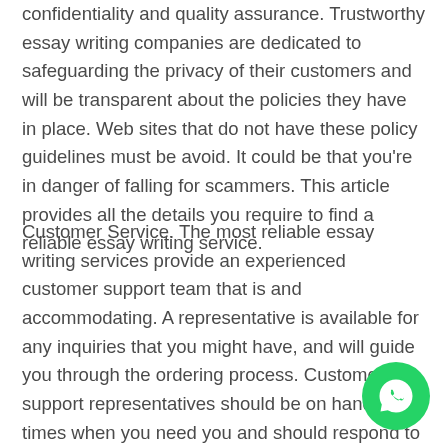confidentiality and quality assurance. Trustworthy essay writing companies are dedicated to safeguarding the privacy of their customers and will be transparent about the policies they have in place. Web sites that do not have these policy guidelines must be avoid. It could be that you're in danger of falling for scammers. This article provides all the details you require to find a reliable essay writing service.
Customer Service. The most reliable essay writing services provide an experienced customer support team that is and accommodating. A representative is available for any inquiries that you might have, and will guide you through the ordering process. Customer support representatives should be on hand at all times when you need you and should respond to email promptly. Find out about a money-back assurance. Find out if proofreading or revisions are available at no cost from the provider you are
[Figure (illustration): WhatsApp circular button icon with green background and white phone handset logo, positioned at bottom right]